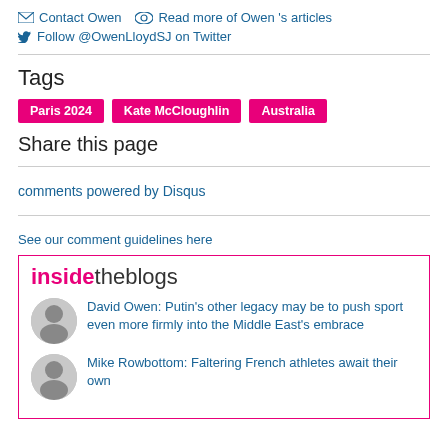Contact Owen   Read more of Owen 's articles
Follow @OwenLloydSJ on Twitter
Tags
Paris 2024
Kate McCloughlin
Australia
Share this page
comments powered by Disqus
See our comment guidelines here
[Figure (logo): insidetheblogs logo in pink and dark]
David Owen: Putin's other legacy may be to push sport even more firmly into the Middle East's embrace
Mike Rowbottom: Faltering French athletes await their own